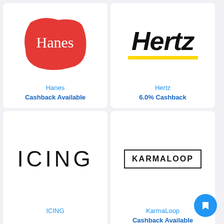[Figure (logo): Hanes brand logo - red wavy square shape with white 'Hanes' serif text]
Hanes
Cashback Available
[Figure (logo): Hertz logo - black italic bold 'Hertz' text with yellow underline bar]
Hertz
6.0% Cashback
[Figure (logo): ICING logo - thin black uppercase letters 'ICING' with wide letter spacing]
ICING
[Figure (logo): KarmaLoop logo - bold uppercase 'KARMALOOP' text in black bordered rectangle]
KarmaLoop
Cashback Available